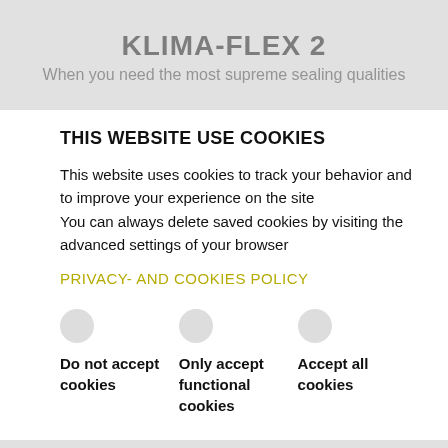KLIMA-FLEX 2
When you need the most supreme sealing qualities
THIS WEBSITE USE COOKIES
This website uses cookies to track your behavior and to improve your experience on the site
You can always delete saved cookies by visiting the advanced settings of your browser
PRIVACY- AND COOKIES POLICY
Do not accept cookies
Only accept functional cookies
Accept all cookies